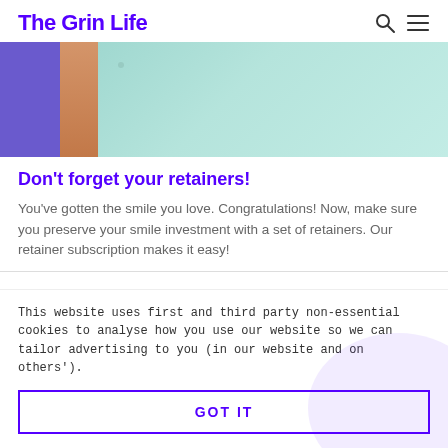The Grin Life
[Figure (photo): Hero image showing a person in a mint/teal shirt with a purple block on the left side, cropped to show the torso and raised arm area.]
Don’t forget your retainers!
You’ve gotten the smile you love. Congratulations! Now, make sure you preserve your smile investment with a set of retainers. Our retainer subscription makes it easy!
This website uses first and third party non-essential cookies to analyse how you use our website so we can tailor advertising to you (in our website and on others’).
GOT IT